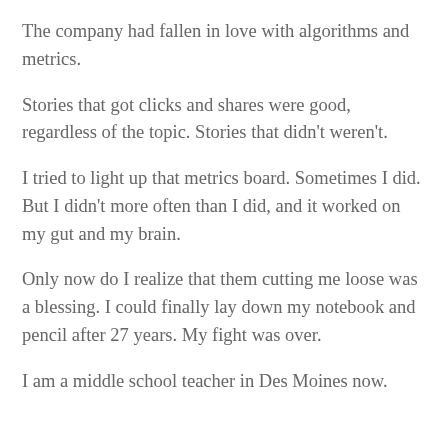The company had fallen in love with algorithms and metrics.
Stories that got clicks and shares were good, regardless of the topic. Stories that didn't weren't.
I tried to light up that metrics board. Sometimes I did. But I didn't more often than I did, and it worked on my gut and my brain.
Only now do I realize that them cutting me loose was a blessing. I could finally lay down my notebook and pencil after 27 years. My fight was over.
I am a middle school teacher in Des Moines now.